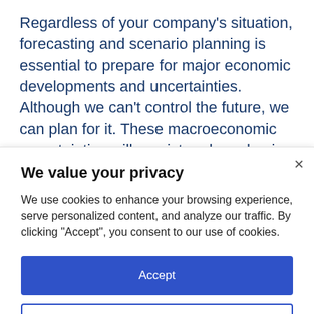Regardless of your company's situation, forecasting and scenario planning is essential to prepare for major economic developments and uncertainties. Although we can't control the future, we can plan for it. These macroeconomic uncertainties will persist and emphasize the need for an efficient process to plan and forecast multiple scenarios at any given time.
We value your privacy
We use cookies to enhance your browsing experience, serve personalized content, and analyze our traffic. By clicking "Accept", you consent to our use of cookies.
Accept
Customize